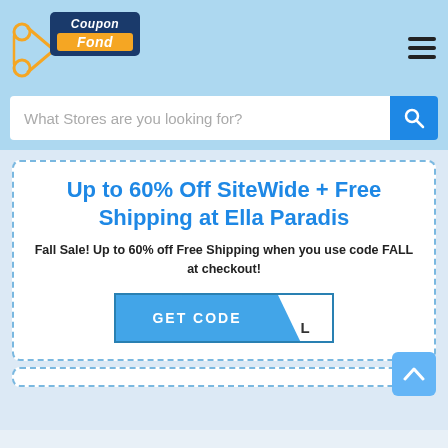CouponFond
What Stores are you looking for?
Up to 60% Off SiteWide + Free Shipping at Ella Paradis
Fall Sale! Up to 60% off Free Shipping when you use code FALL at checkout!
GET CODE L